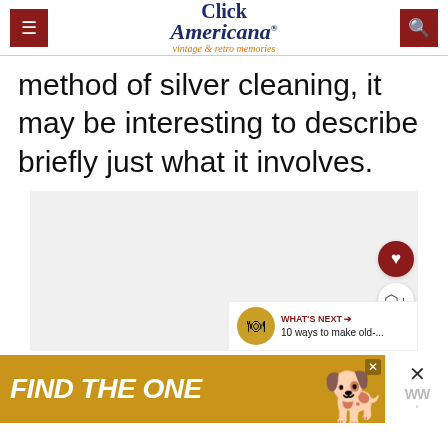Click Americana – vintage & retro memories
method of silver cleaning, it may be interesting to describe briefly just what it involves.
[Figure (other): Blank/placeholder image area for article content]
[Figure (other): What's Next panel: 10 ways to make old-...]
[Figure (other): Advertisement banner: FIND THE ONE with dog image]